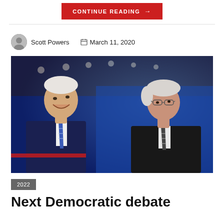CONTINUE READING →
Scott Powers   March 11, 2020
[Figure (photo): Two older white-haired men in suits standing on a debate stage with blue lighting; one smiling in a dark navy suit with blue striped tie, the other in a dark suit with striped tie and glasses]
2022
Next Democratic debate